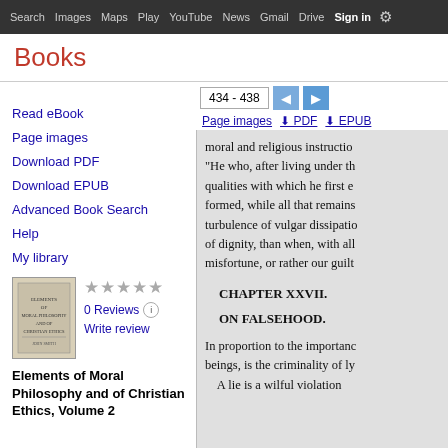Search  Images  Maps  Play  YouTube  News  Gmail  Drive  More  Sign in
Books
Read eBook
Page images
Download PDF
Download EPUB
Advanced Book Search
Help
My library
0 Reviews
Write review
Elements of Moral Philosophy and of Christian Ethics, Volume 2
434 - 438
Page images  PDF  EPUB
moral and religious instructio... "He who, after living under th... qualities with which he first e... formed, while all that remains... turbulence of vulgar dissipatio... of dignity, than when, with all... misfortune, or rather our guilt...
CHAPTER XXVII.
ON FALSEHOOD.
In proportion to the importanc... beings, is the criminality of ly... A lie is a wilful violation...